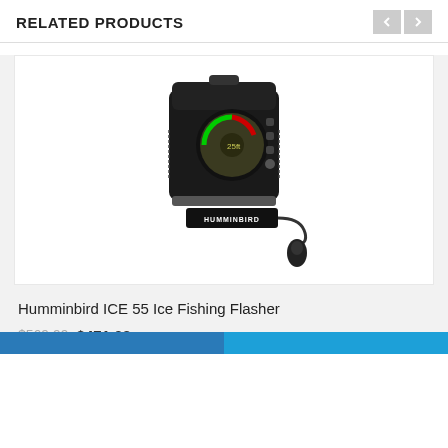RELATED PRODUCTS
[Figure (photo): Humminbird ICE 55 Ice Fishing Flasher device — a black portable ice fishing sonar unit with a circular flasher display, control knobs, carrying case, and a teardrop transducer with cable. HUMMINBIRD logo visible on the transducer.]
Humminbird ICE 55 Ice Fishing Flasher
$569.99 $471.03